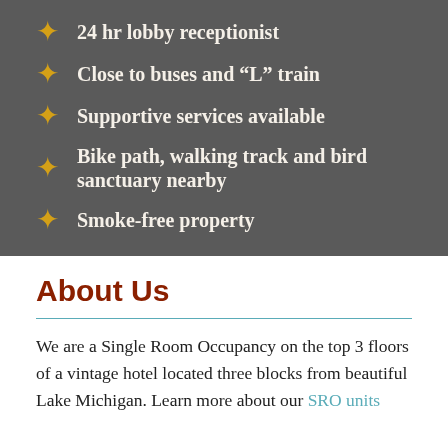24 hr lobby receptionist
Close to buses and “L” train
Supportive services available
Bike path, walking track and bird sanctuary nearby
Smoke-free property
About Us
We are a Single Room Occupancy on the top 3 floors of a vintage hotel located three blocks from beautiful Lake Michigan. Learn more about our SRO units